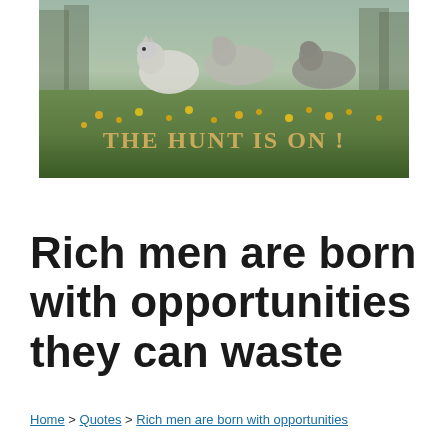[Figure (photo): Wolves running through a field of yellow wildflowers and green grass, with foggy forest in background. Text overlay reads 'THE HUNT IS ON !' in gold serif font.]
Rich men are born with opportunities they can waste
Home > Quotes > Rich men are born with opportunities they can waste